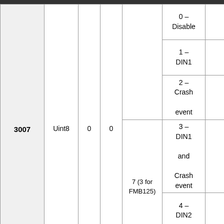| ID | Type | Min | Default | Max | Values |  |
| --- | --- | --- | --- | --- | --- | --- |
| 3007 | Uint8 | 0 | 0 | 7 (3 for FMB125) | 0 – Disable |  |
|  |  |  |  |  | 1 – DIN1 |  |
|  |  |  |  |  | 2 – Crash event |  |
|  |  |  |  |  | 3 – DIN1 and Crash event |  |
|  |  |  |  |  | 4 – DIN2 |  |
|  |  |  |  |  | 5 – DIN1... |  |